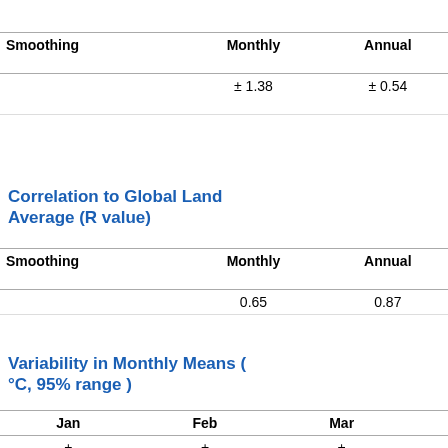| Smoothing | Monthly | Annual | Five-year | Ten-year | Twenty-year |
| --- | --- | --- | --- | --- | --- |
|  | ±1.38 | ±0.54 | ±0.29 | ±0.25 | ±0.23 |
Correlation to Global Land Average (R value)
| Smoothing | Monthly | Annual | Five-year | Ten-year | Twenty-year |
| --- | --- | --- | --- | --- | --- |
|  | 0.65 | 0.87 | 0.95 | 0.96 | 0.96 |
Variability in Monthly Means (°C, 95% range )
| Jan | Feb | Mar | Apr | May | Jun |
| --- | --- | --- | --- | --- | --- |
| ± | ± | ± | ± | ± | ± |
Bombay
Ahmada...
Surat
Thana
Vadodar...
Hyderab...
Long Temperature
Stations
AURANG...
CHIKALT... AEROD...
MASIRA ISLAND
LAHORE (CITY)
JASK